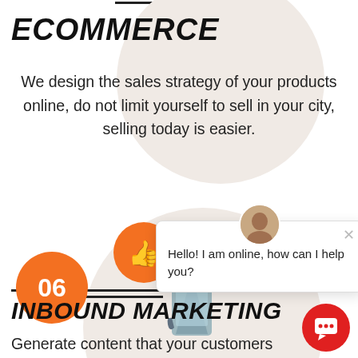ECOMMERCE
We design the sales strategy of your products online, do not limit yourself to sell in your city, selling today is easier.
[Figure (illustration): Circular background with ecommerce/social media icons: thumbs up, browser window with play button, and a chat/message icon. An orange number badge '06' is on the left.]
[Figure (screenshot): Chat widget popup showing an avatar photo, a close X button, and the message: Hello! I am online, how can I help you?]
INBOUND MARKETING
Generate content that your customers